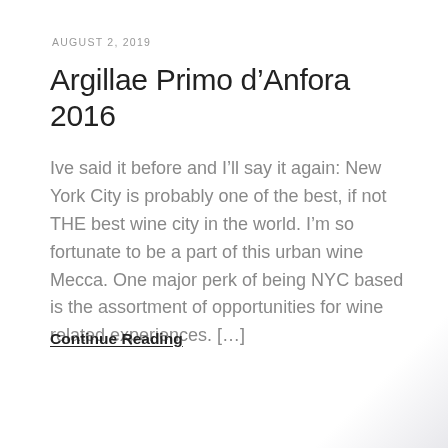AUGUST 2, 2019
Argillae Primo d’Anfora 2016
Ive said it before and I’ll say it again: New York City is probably one of the best, if not THE best wine city in the world. I’m so fortunate to be a part of this urban wine Mecca. One major perk of being NYC based is the assortment of opportunities for wine related experiences. […]
Continue Reading